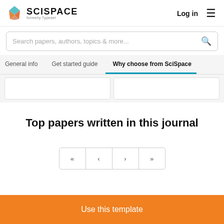[Figure (logo): SciSpace logo with teal/orange layered diamond icon and text 'SCISPACE formerly Typeset']
Log in
≡
Search papers, authors, topics & more...
General info
Get started guide
Why choose from SciSpace
Top papers written in this journal
« < > »
Use this template